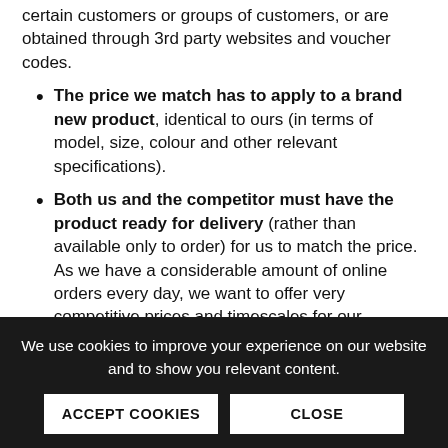certain customers or groups of customers, or are obtained through 3rd party websites and voucher codes.
The price we match has to apply to a brand new product, identical to ours (in terms of model, size, colour and other relevant specifications).
Both us and the competitor must have the product ready for delivery (rather than available only to order) for us to match the price. As we have a considerable amount of online orders every day, we want to offer very competitive prices and timescales for our delivered products. That is why, when comparing prices, we will take stock availability, delivery charges
We use cookies to improve your experience on our website and to show you relevant content.
ACCEPT COOKIES    CLOSE